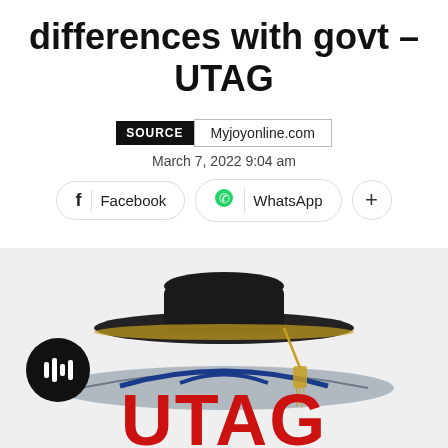differences with govt – UTAG
SOURCE   Myjoyonline.com
March 7, 2022 9:04 am
Facebook   WhatsApp   +
[Figure (photo): UTAG logo with graduation cap (mortarboard) on top of an open book, with large red UTAG text below, on a light grey background. A black circular play button is visible on the left side.]